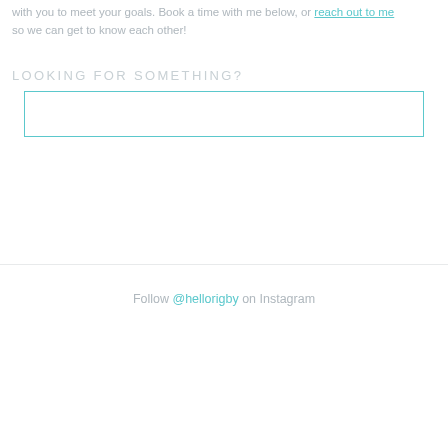with you to meet your goals. Book a time with me below, or reach out to me so we can get to know each other!
LOOKING FOR SOMETHING?
[Figure (other): Empty search input box with teal/cyan border]
Follow @hellorigby on Instagram